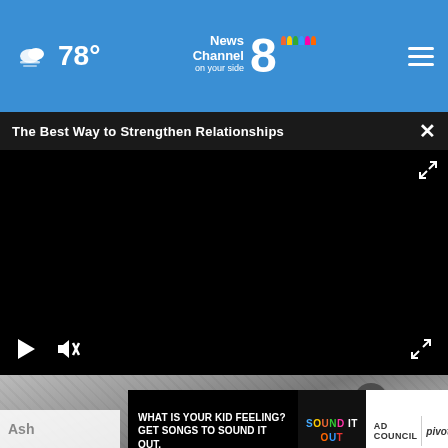78° News Channel 8 on your side
The Best Way to Strengthen Relationships
[Figure (screenshot): Black video player area with play and mute controls at the bottom left, and a fullscreen expand icon at the top right and bottom right.]
[Figure (photo): Partial photo visible beneath video player — appears to show rubble or debris scene. Article title preview reads 'Ash...' at bottom left.]
[Figure (infographic): Advertisement overlay: 'WHAT IS YOUR KID FEELING? GET SONGS TO SOUND IT OUT.' with Sound It Out and Ad Council / Pivotal branding.]